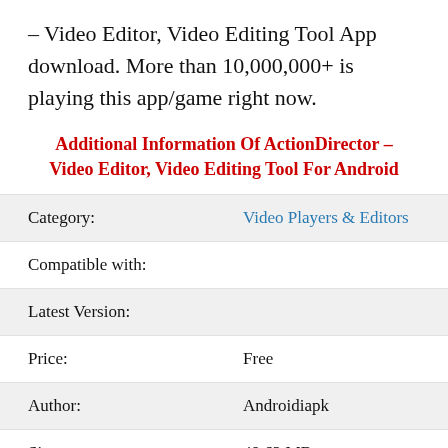– Video Editor, Video Editing Tool App download. More than 10,000,000+ is playing this app/game right now.
Additional Information Of ActionDirector – Video Editor, Video Editing Tool For Android
| Field | Value |
| --- | --- |
| Category: | Video Players & Editors |
| Compatible with: |  |
| Latest Version: |  |
| Price: | Free |
| Author: | Androidiapk |
| Size: | 49.62 MB |
| Downloads: | 10,000,000+ |